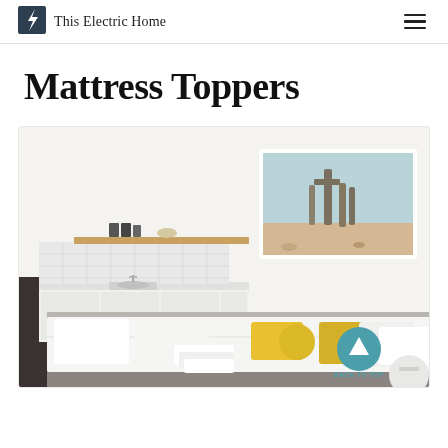This Electric Home
Mattress Toppers
[Figure (photo): A bright, minimalist studio room with a neatly made bed featuring white bedding, yellow accent pillows, a small kitchenette with white tile backsplash and a wooden shelf in the background, and a framed desert cactus artwork on the wall. A 'Back to Top' button overlay is visible in the bottom right corner.]